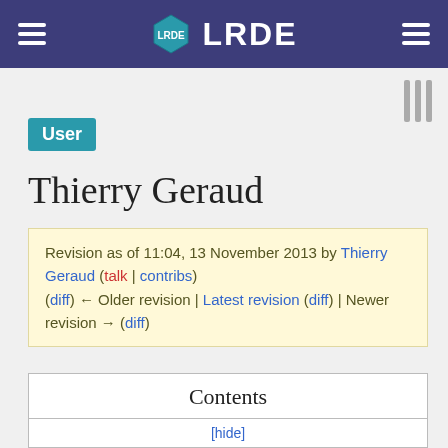LRDE
User
Thierry Geraud
Revision as of 11:04, 13 November 2013 by Thierry Geraud (talk | contribs)
(diff) ← Older revision | Latest revision (diff) | Newer revision → (diff)
| Contents |
| --- |
| [hide] |